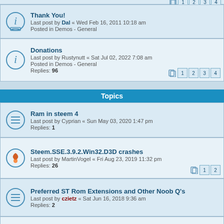Thank You! — Last post by Dal « Wed Feb 16, 2011 10:18 am — Posted in Demos - General
Donations — Last post by Rustynutt « Sat Jul 02, 2022 7:08 am — Posted in Demos - General — Replies: 96
Topics
Ram in steem 4 — Last post by Cyprian « Sun May 03, 2020 1:47 pm — Replies: 1
Steem.SSE.3.9.2.Win32.D3D crashes — Last post by MartinVogel « Fri Aug 23, 2019 11:32 pm — Replies: 26
Preferred ST Rom Extensions and Other Noob Q's — Last post by czietz « Sat Jun 16, 2018 9:36 am — Replies: 2
Fullscreen GUI missing — Last post by Cogweasel « Thu Mar 08, 2018 12:24 pm — Replies: 6
Auto folder causes sound to be distorted and too fast — Last post by solrac42 « Sat Feb 03, 2018 7:25 pm
Incorrect screen size in Shadow of the Beast — Last post by ...